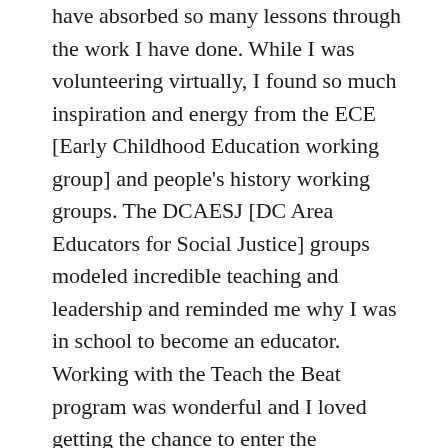have absorbed so many lessons through the work I have done. While I was volunteering virtually, I found so much inspiration and energy from the ECE [Early Childhood Education working group] and people's history working groups. The DCAESJ [DC Area Educators for Social Justice] groups modeled incredible teaching and leadership and reminded me why I was in school to become an educator. Working with the Teach the Beat program was wonderful and I loved getting the chance to enter the classroom as a documenter. While I was at first overwhelmed by the amount of writing involved in my responsibilities, my documentation skills greatly improved and I am glad that I was